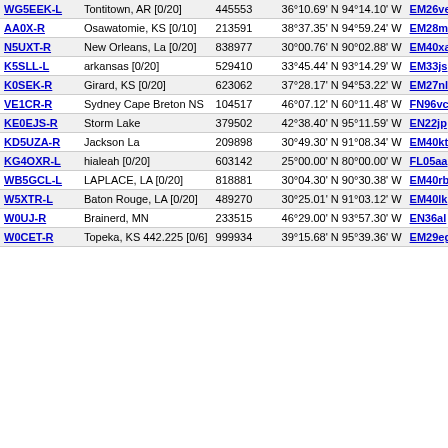| Callsign | Location | Node | Coordinates | Grid | Dist | Freq |
| --- | --- | --- | --- | --- | --- | --- |
| WG5EEK-L | Tontitown, AR [0/20] | 445553 | 36°10.69' N 94°14.10' W | EM26ve | 965.7 |  |
| AA0X-R | Osawatomie, KS [0/10] | 213591 | 38°37.35' N 94°59.24' W | EM28mo | 970.2 |  |
| N5UXT-R | New Orleans, La [0/20] | 838977 | 30°00.76' N 90°02.88' W | EM40xa | 971.9 | 444.95 |
| K5SLL-L | arkansas [0/20] | 529410 | 33°45.44' N 93°14.29' W | EM33js | 975.9 |  |
| K0SEK-R | Girard, KS [0/20] | 623062 | 37°28.17' N 94°53.22' W | EM27nl | 978.3 | 147.24 |
| VE1CR-R | Sydney Cape Breton NS | 104517 | 46°07.12' N 60°11.48' W | FN96vc | 980.6 | 146.88 |
| KE0EJS-R | Storm Lake | 379502 | 42°38.40' N 95°11.59' W | EN22jp | 983.5 |  |
| KD5UZA-R | Jackson La | 209898 | 30°49.30' N 91°08.34' W | EM40kt | 983.6 | 146.83 |
| KG4OXR-L | hialeah [0/20] | 603142 | 25°00.00' N 80°00.00' W | FL05aa | 988.7 |  |
| WB5GCL-L | LAPLACE, LA [0/20] | 818881 | 30°04.30' N 90°30.38' W | EM40rb | 989.1 |  |
| W5XTR-L | Baton Rouge, LA [0/20] | 489270 | 30°25.01' N 91°03.12' W | EM40lk | 997.7 |  |
| W0UJ-R | Brainerd, MN | 233515 | 46°29.00' N 93°57.30' W | EN36al | 1001.0 | 147.22 |
| W0CET-R | Topeka, KS 442.225 [0/6] | 999934 | 39°15.68' N 95°39.36' W | EM29eg | 1001.1 | 442.22 |